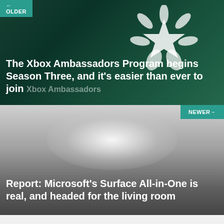[Figure (screenshot): Xbox Ambassadors Program card with dark teal/green background and Xbox Ambassadors logo (star with leaf/flame shapes)]
← OLDER
The Xbox Ambassadors Program begins Season Three, and it's easier than ever to join
Xbox Ambassadors
[Figure (photo): Gray gradient background image for Microsoft Surface All-in-One article]
NEWER→
Report: Microsoft's Surface All-in-One is real, and headed for the living room